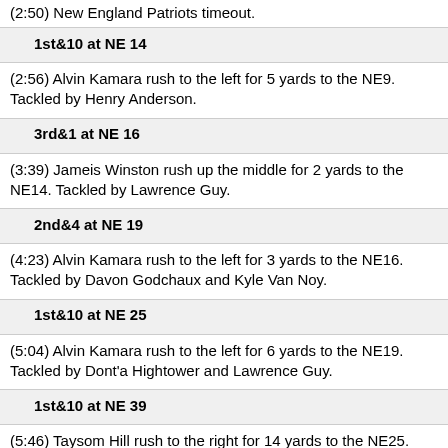(2:50) New England Patriots timeout.
1st&10 at NE 14
(2:56) Alvin Kamara rush to the left for 5 yards to the NE9. Tackled by Henry Anderson.
3rd&1 at NE 16
(3:39) Jameis Winston rush up the middle for 2 yards to the NE14. Tackled by Lawrence Guy.
2nd&4 at NE 19
(4:23) Alvin Kamara rush to the left for 3 yards to the NE16. Tackled by Davon Godchaux and Kyle Van Noy.
1st&10 at NE 25
(5:04) Alvin Kamara rush to the left for 6 yards to the NE19. Tackled by Dont'a Hightower and Lawrence Guy.
1st&10 at NE 39
(5:46) Taysom Hill rush to the right for 14 yards to the NE25. Tackled by Kyle Van Noy.
2nd&7 at NE 46
(6:27) Jameis Winston pass to the left to Deonte Harris for 7 yards to the NE39. Tackled by Jonathan Jones.
1st&10 at NE 49
(7:11) Alvin Kamara rush to the right for 3 yards to the NE46. Tackled by